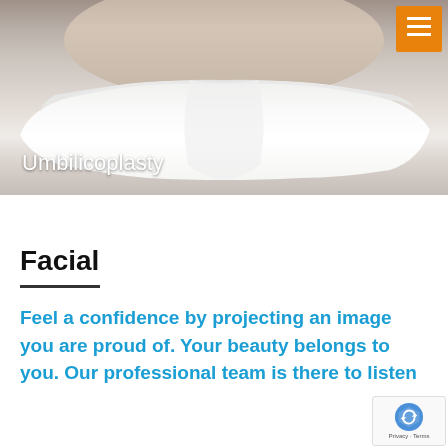[Figure (photo): Hero image of a person's midsection wearing white underwear against a gray-brown background, with 'Umbilicoplasty' text overlay. Orange hamburger menu button in top-right corner.]
Facial
Feel a confidence by projecting an image you are proud of. Your beauty belongs to you. Our professional team is there to listen